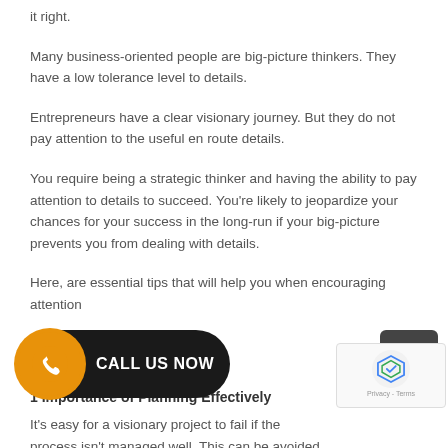it right.
Many business-oriented people are big-picture thinkers. They have a low tolerance level to details.
Entrepreneurs have a clear visionary journey. But they do not pay attention to the useful en route details.
You require being a strategic thinker and having the ability to pay attention to details to succeed. You're likely to jeopardize your chances for your success in the long-run if your big-picture prevents you from dealing with details.
Here, are essential tips that will help you when encouraging attention
[Figure (other): Call Us Now button — dark pill-shaped button with orange WhatsApp icon on left and white text 'CALL US NOW']
1 Importance of Planning Effectively
It's easy for a visionary project to fail if the process isn't managed well. This can be avoided by planning all the aspects of your project effectively. For instance, you can use a PERT and Gantt charts to